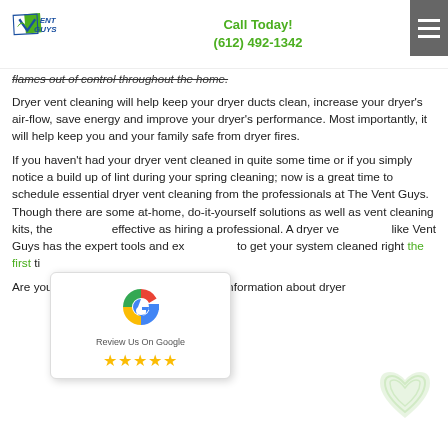Vent Guys | Call Today! (612) 492-1342
flames out of control throughout the home.
Dryer vent cleaning will help keep your dryer ducts clean, increase your dryer's air-flow, save energy and improve your dryer's performance. Most importantly, it will help keep you and your family safe from dryer fires.
If you haven't had your dryer vent cleaned in quite some time or if you simply notice a build up of lint during your spring cleaning; now is a great time to schedule essential dryer vent cleaning from the professionals at The Vent Guys. Though there are some at-home, do-it-yourself solutions as well as vent cleaning kits, the effective as hiring a professional. A dryer ve like Vent Guys has the expert tools and ex to get your system cleaned right the first ti
[Figure (other): Google 'Review Us On Google' popup badge with Google G logo and 5 yellow stars]
Are you interested in getting some more information about dryer